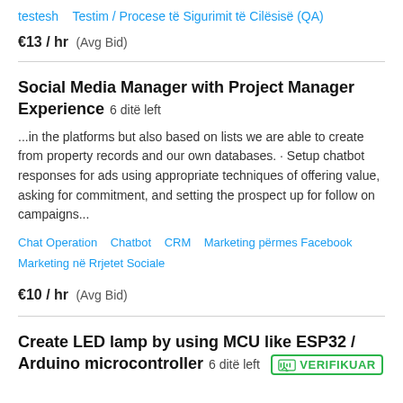testesh   Testim / Procese të Sigurimit të Cilësisë (QA)
€13 / hr   (Avg Bid)
Social Media Manager with Project Manager Experience   6 ditë left
...in the platforms but also based on lists we are able to create from property records and our own databases. · Setup chatbot responses for ads using appropriate techniques of offering value, asking for commitment, and setting the prospect up for follow on campaigns...
Chat Operation   Chatbot   CRM   Marketing përmes Facebook   Marketing në Rrjetet Sociale
€10 / hr   (Avg Bid)
Create LED lamp by using MCU like ESP32 / Arduino microcontroller   6 ditë left   VERIFIKUAR